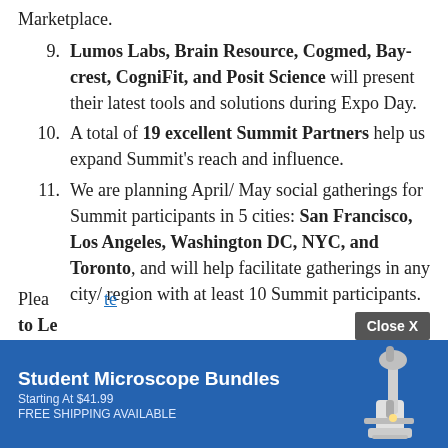Marketplace.
9. Lumos Labs, Brain Resource, Cogmed, Baycrest, CogniFit, and Posit Science will present their latest tools and solutions during Expo Day.
10. A total of 19 excellent Summit Partners help us expand Summit's reach and influence.
11. We are planning April/ May social gatherings for Summit participants in 5 cities: San Francisco, Los Angeles, Washington DC, NYC, and Toronto, and will help facilitate gatherings in any city/ region with at least 10 Summit participants.
Please
to Le
[Figure (other): Advertisement banner: Student Microscope Bundles Starting At $41.99 FREE SHIPPING AVAILABLE, with microscope image and play button icon. Close X button above banner.]